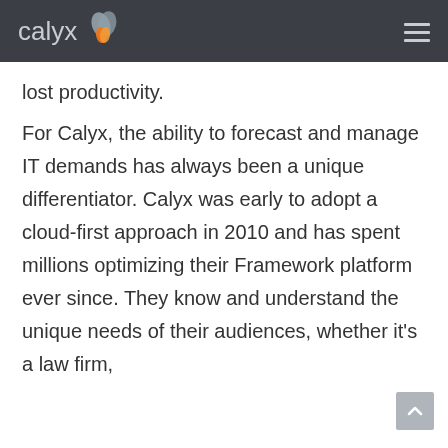calyx [logo]
lost productivity.
For Calyx, the ability to forecast and manage IT demands has always been a unique differentiator. Calyx was early to adopt a cloud-first approach in 2010 and has spent millions optimizing their Framework platform ever since. They know and understand the unique needs of their audiences, whether it's a law firm,